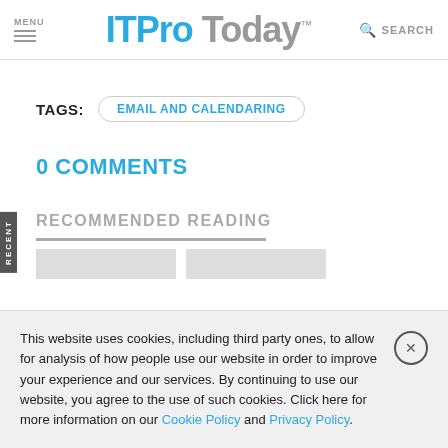MENU | ITProToday | SEARCH
TAGS: EMAIL AND CALENDARING
0 COMMENTS
RECOMMENDED READING
This website uses cookies, including third party ones, to allow for analysis of how people use our website in order to improve your experience and our services. By continuing to use our website, you agree to the use of such cookies. Click here for more information on our Cookie Policy and Privacy Policy.